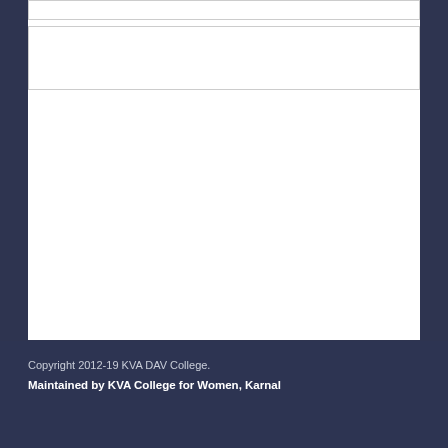Copyright 2012-19 KVA DAV College.
Maintained by KVA College for Women, Karnal